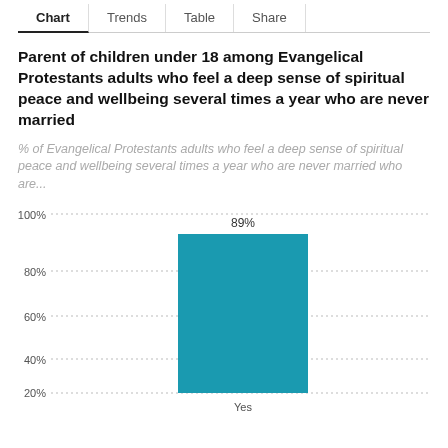Chart | Trends | Table | Share
Parent of children under 18 among Evangelical Protestants adults who feel a deep sense of spiritual peace and wellbeing several times a year who are never married
% of Evangelical Protestants adults who feel a deep sense of spiritual peace and wellbeing several times a year who are never married who are...
[Figure (bar-chart): ]